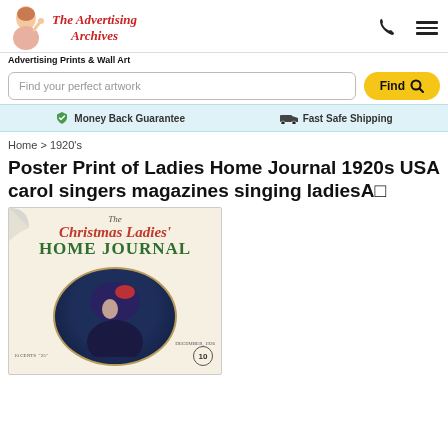The Advertising Archives — Advertising Prints & Wall Art
Find your perfect artwork
Money Back Guarantee   Fast Safe Shipping
Home > 1920's
Poster Print of Ladies Home Journal 1920s USA carol singers magazines singing ladiesA 
[Figure (photo): Magazine cover of The Christmas Ladies' Home Journal, December 1926, showing a woman in a dark blue hat with red accents, price 10 cents, circular medallion. Top-left corner shows a page curl effect.]